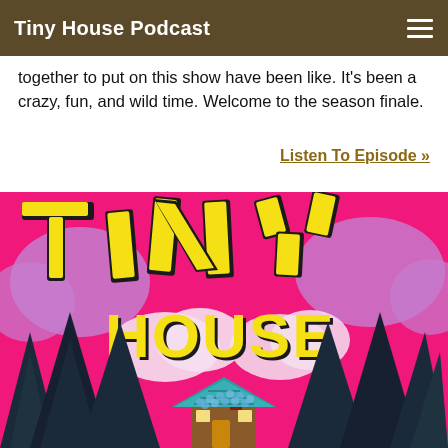Tiny House Podcast
together to put on this show have been like. It's been a crazy, fun, and wild time. Welcome to the season finale.
Listen To Episode »
[Figure (illustration): Tiny House Podcast logo illustration with colorful cartoon letters spelling TINY HOUSE over a pink sky with stylized dark pine trees and a small cabin with a teal roof in the center foreground.]